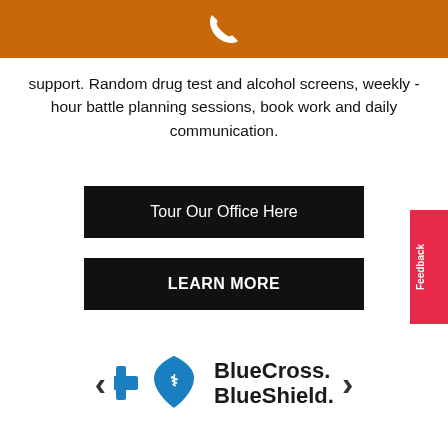[Figure (other): Orange header bar with white phone icon]
support. Random drug test and alcohol screens, weekly -hour battle planning sessions, book work and daily communication.
Tour Our Office Here
LEARN MORE
[Figure (logo): BlueCross BlueShield logo with blue cross and blue shield icons]
Feedback